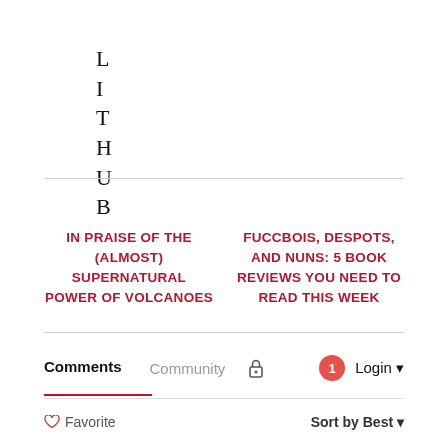LIT HUB
IN PRAISE OF THE (ALMOST) SUPERNATURAL POWER OF VOLCANOES
FUCCBOIS, DESPOTS, AND NUNS: 5 BOOK REVIEWS YOU NEED TO READ THIS WEEK
Comments
Community
Login
Favorite
Sort by Best